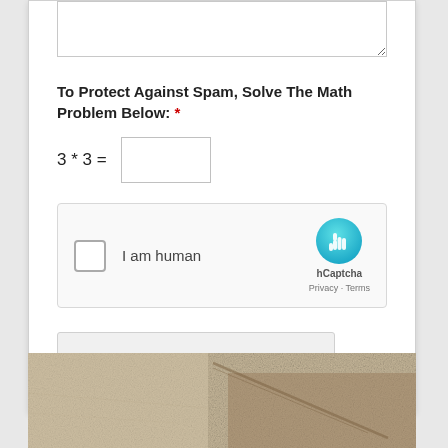To Protect Against Spam, Solve The Math Problem Below: *
[Figure (screenshot): hCaptcha widget with checkbox labeled 'I am human', hCaptcha logo, and Privacy/Terms links]
Yes, I'd Like a Free Quote!
[Figure (photo): Close-up photo of textured beige/tan carpet or concrete surface with a dark edge or line visible]